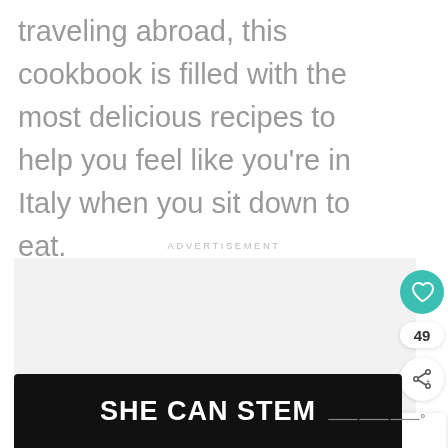traveling abroad, this cookbook is filled with the most delicious recipes to help you feel like you’re in Italy when you sit down to eat.
ADVERTISEMENT
[Figure (screenshot): Heart/like button (teal circle with heart icon), count badge showing 49, and share button]
[Figure (screenshot): WHAT'S NEXT panel with thumbnail image and text: Gifts for Architects:....]
[Figure (screenshot): SHE CAN STEM advertisement banner on dark background]